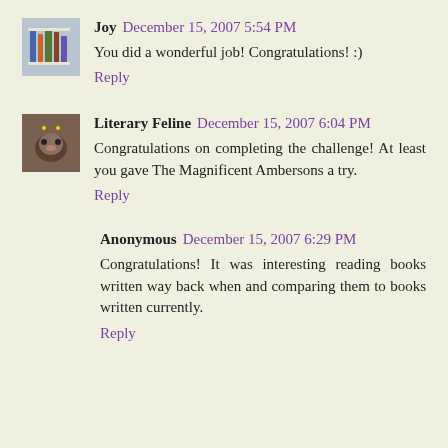Joy  December 15, 2007 5:54 PM
You did a wonderful job! Congratulations! :)
Reply
Literary Feline  December 15, 2007 6:04 PM
Congratulations on completing the challenge! At least you gave The Magnificent Ambersons a try.
Reply
Anonymous  December 15, 2007 6:29 PM
Congratulations! It was interesting reading books written way back when and comparing them to books written currently.
Reply